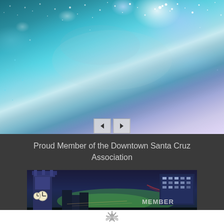[Figure (photo): Starry night sky / galaxy nebula background image with teal, blue, and purple tones with scattered stars]
[Figure (other): Navigation slider arrows: left arrow and right arrow buttons]
Proud Member of the Downtown Santa Cruz Association
[Figure (photo): Night photo of Downtown Santa Cruz showing clock tower on left, city lights with green glow in center, modern building on right, with 'MEMBER' text overlay and orange 'DOWNTOWN SANTA CRUZ ASSOCIATION' bar at bottom]
[Figure (logo): White logo/emblem at bottom of page, partially visible]